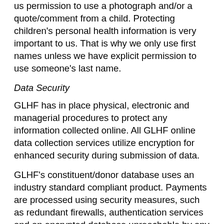us permission to use a photograph and/or a quote/comment from a child. Protecting children's personal health information is very important to us. That is why we only use first names unless we have explicit permission to use someone's last name.
Data Security
GLHF has in place physical, electronic and managerial procedures to protect any information collected online. All GLHF online data collection services utilize encryption for enhanced security during submission of data.
GLHF's constituent/donor database uses an industry standard compliant product. Payments are processed using security measures, such as redundant firewalls, authentication services and an encrypted database unreachable by any public IP address. GLHF limits access of its constituent data to key personnel, on a needs only basis, to effectively carry out their duties. However, as effective as these measures are, no